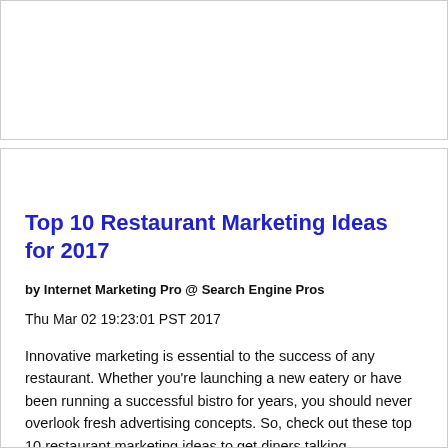Top 10 Restaurant Marketing Ideas for 2017
by Internet Marketing Pro @ Search Engine Pros
Thu Mar 02 19:23:01 PST 2017
Innovative marketing is essential to the success of any restaurant. Whether you're launching a new eatery or have been running a successful bistro for years, you should never overlook fresh advertising concepts. So, check out these top 10 restaurant marketing ideas to get diners talking...
The post Top 10 Restaurant Marketing Ideas for